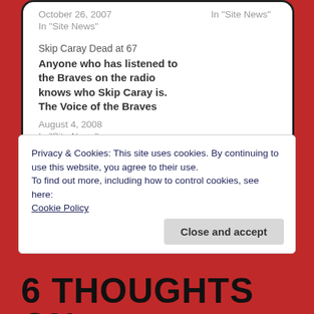October 26, 2007
In "Site News"
In "Site News"
Skip Caray Dead at 67
Anyone who has listened to the Braves on the radio knows who Skip Caray is. The Voice of the Braves
August 4, 2008
In "Site News"
Privacy & Cookies: This site uses cookies. By continuing to use this website, you agree to their use.
To find out more, including how to control cookies, see here: Cookie Policy
Close and accept
6 THOUGHTS ON